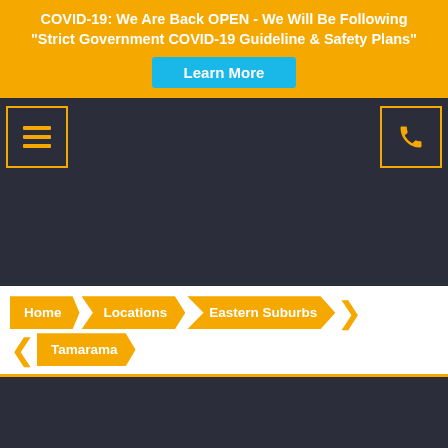COVID-19: We Are Back OPEN - We Will Be Following "Strict Government COVID-19 Guideline & Safety Plans"
Learn More
[Figure (screenshot): Navigation bar with hamburger menu icon on left and phone icon on right, dark background with orange borders]
[Figure (infographic): Breadcrumb navigation with orange arrow shapes: Home > Locations > Eastern Suburbs > Tamarama]
FREE QUOTE CALL OR TEXT